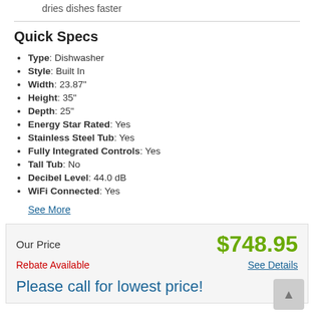dries dishes faster
Quick Specs
Type: Dishwasher
Style: Built In
Width: 23.87"
Height: 35"
Depth: 25"
Energy Star Rated: Yes
Stainless Steel Tub: Yes
Fully Integrated Controls: Yes
Tall Tub: No
Decibel Level: 44.0 dB
WiFi Connected: Yes
See More
Our Price $748.95
Rebate Available See Details
Please call for lowest price!